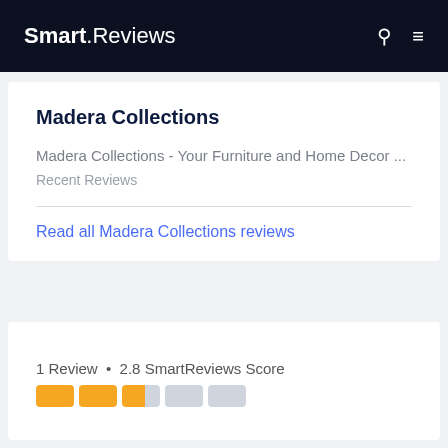Smart.Reviews
Madera Collections
Madera Collections - Your Furniture and Home Decor ...
Recent Reviews
Read all Madera Collections reviews
1 Review • 2.8 SmartReviews Score